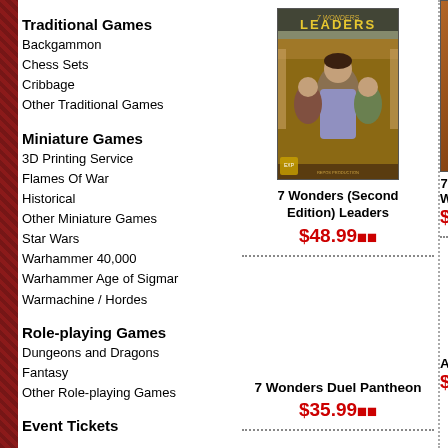Traditional Games
Backgammon
Chess Sets
Cribbage
Other Traditional Games
Miniature Games
3D Printing Service
Flames Of War
Historical
Other Miniature Games
Star Wars
Warhammer 40,000
Warhammer Age of Sigmar
Warmachine / Hordes
Role-playing Games
Dungeons and Dragons
Fantasy
Other Role-playing Games
Event Tickets
New Arrivals
Award Winning
[Figure (photo): 7 Wonders (Second Edition) Leaders board game box cover]
7 Wonders (Second Edition) Leaders
$48.99
[Figure (photo): 7 Wonders Duel (partially visible box cover)]
7 Wonders Duel Pantheon
$35.99
Agri-
$79.9-